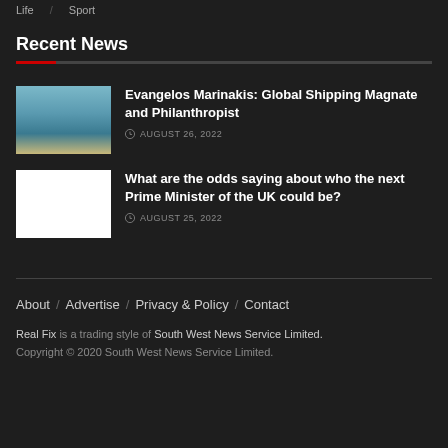Life / Sport
Recent News
Evangelos Marinakis: Global Shipping Magnate and Philanthropist — AUGUST 26, 2022
What are the odds saying about who the next Prime Minister of the UK could be? — AUGUST 25, 2022
About / Advertise / Privacy & Policy / Contact
Real Fix is a trading style of South West News Service Limited. Copyright © 2020 South West News Service Limited.